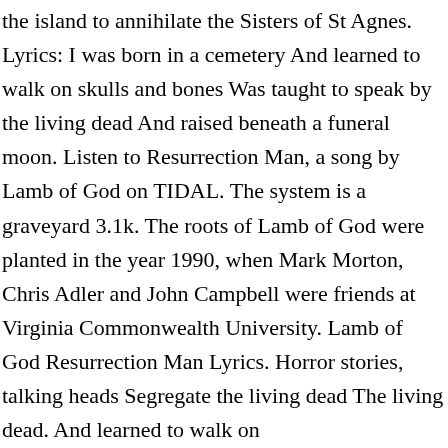the island to annihilate the Sisters of St Agnes. Lyrics: I was born in a cemetery And learned to walk on skulls and bones Was taught to speak by the living dead And raised beneath a funeral moon. Listen to Resurrection Man, a song by Lamb of God on TIDAL. The system is a graveyard 3.1k. The roots of Lamb of God were planted in the year 1990, when Mark Morton, Chris Adler and John Campbell were friends at Virginia Commonwealth University. Lamb of God Resurrection Man Lyrics. Horror stories, talking heads Segregate the living dead The living dead. And learned to walk on